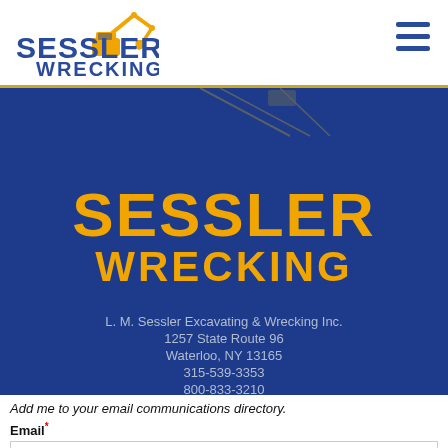[Figure (logo): Sessler Wrecking logo with yellow excavator arm graphic and blue text reading SESSLER WRECKING]
[Figure (illustration): Hamburger/menu icon with three horizontal blue lines]
[Figure (illustration): Dark blue hero banner with yellow crane arm lines and large yellow bold text SESSLER WRECKING]
L. M. Sessler Excavating & Wrecking Inc.
1257 State Route 96
Waterloo, NY 13165
315-539-3353
800-833-3210
Add me to your email communications directory.
Email*
First Name